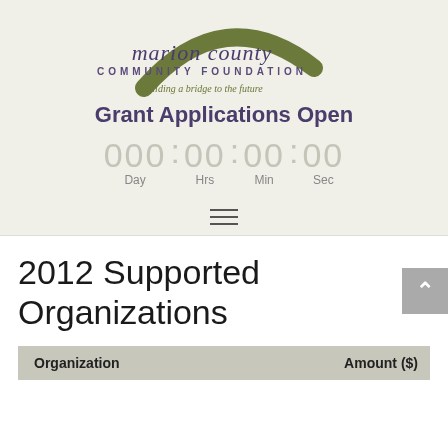[Figure (logo): Marion County Community Foundation logo with green arc and tagline 'Building a bridge to the future']
Grant Applications Open
000: 00 : 00 : 00  Day  Hrs  Min  Sec
2012 Supported Organizations
| Organization | Amount ($) |
| --- | --- |